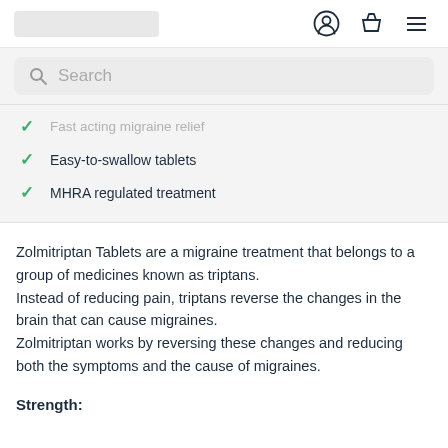[logo placeholder] [user icon] [basket icon] [menu icon]
Search
Fast acting migraine relief
Easy-to-swallow tablets
MHRA regulated treatment
Zolmitriptan Tablets are a migraine treatment that belongs to a group of medicines known as triptans.
Instead of reducing pain, triptans reverse the changes in the brain that can cause migraines.
Zolmitriptan works by reversing these changes and reducing both the symptoms and the cause of migraines.
Strength: